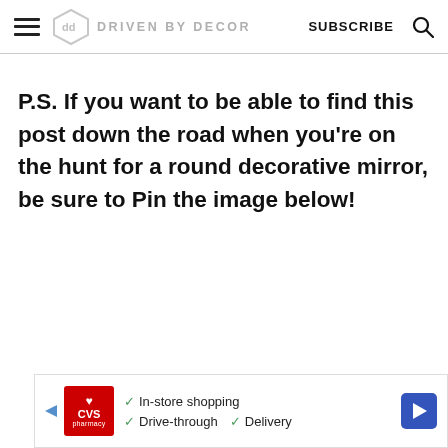DRIVEN BY DECOR | SUBSCRIBE
P.S. If you want to be able to find this post down the road when you're on the hunt for a round decorative mirror, be sure to Pin the image below!
[Figure (screenshot): CVS Pharmacy advertisement banner with checkmarks for In-store shopping, Drive-through, and Delivery options, with a navigation arrow icon]